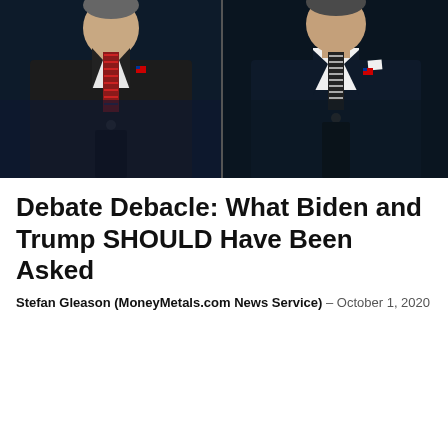[Figure (photo): Two men in dark suits at podiums during a debate. Left figure wears a red striped tie, right figure wears a black and white striped tie. Both have American flag pins on their lapels.]
Debate Debacle: What Biden and Trump SHOULD Have Been Asked
Stefan Gleason (MoneyMetals.com News Service) – October 1, 2020
Rand Paul Pushes Back on 'Gutter Snipe' Jon Stewart After False 9/11 Funding